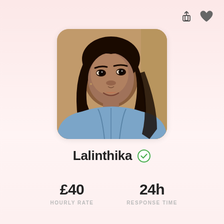[Figure (photo): Profile photo of Lalinthika, a woman with long dark hair wearing a light blue denim jacket, photographed indoors against a warm wooden background]
Lalinthika ✓
£40
HOURLY RATE
24h
RESPONSE TIME